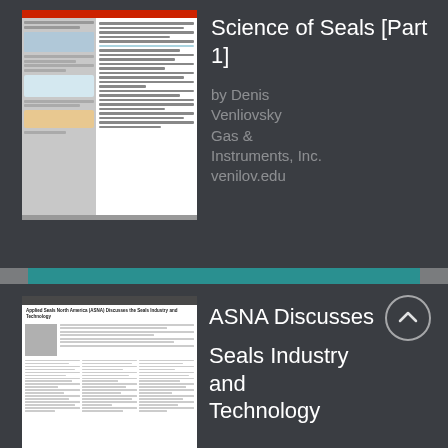[Figure (illustration): Thumbnail of a multi-column document page about Science of Seals Part 1, showing text columns and a blue diagram.]
Science of Seals [Part 1]
by Denis Venliovsky
Gas & Instruments, Inc.
venilov.edu
[Figure (illustration): Thumbnail of a multi-column document page titled 'Applied Seals North America (ASNA) Discusses the Seals Industry and Technology' with a photo on the left.]
ASNA Discusses Seals Industry and Technology